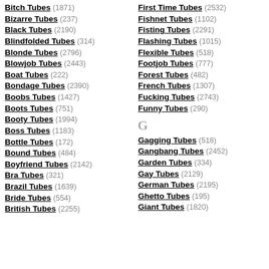Bitch Tubes (1871)
Bizarre Tubes (237)
Black Tubes (2190)
Blindfolded Tubes (314)
Blonde Tubes (2796)
Blowjob Tubes (2443)
Boat Tubes (222)
Bondage Tubes (2390)
Boobs Tubes (1427)
Boots Tubes (751)
Booty Tubes (1994)
Boss Tubes (1183)
Bottle Tubes (172)
Bound Tubes (484)
Boyfriend Tubes (2142)
Bra Tubes (321)
Brazil Tubes (1639)
Bride Tubes (554)
British Tubes (2255)
First Time Tubes (2532)
Fishnet Tubes (1102)
Fisting Tubes (2291)
Flashing Tubes (1015)
Flexible Tubes (518)
Footjob Tubes (777)
Forest Tubes (482)
French Tubes (1307)
Fucking Tubes (2743)
Funny Tubes (290)
G
Gagging Tubes (518)
Gangbang Tubes (2452)
Garden Tubes (334)
Gay Tubes (2129)
German Tubes (2195)
Ghetto Tubes (195)
Giant Tubes (1820)